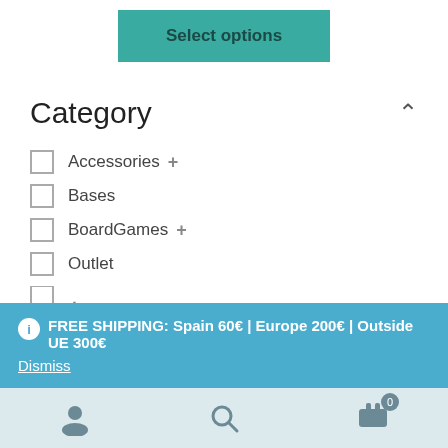Select options
Category
Accessories +
Bases
BoardGames +
Outlet
FREE SHIPPING: Spain 60€ | Europe 200€ | Outside UE 300€
Dismiss
[Figure (infographic): Bottom navigation bar with user account icon, search icon, and shopping cart icon with badge showing 0]